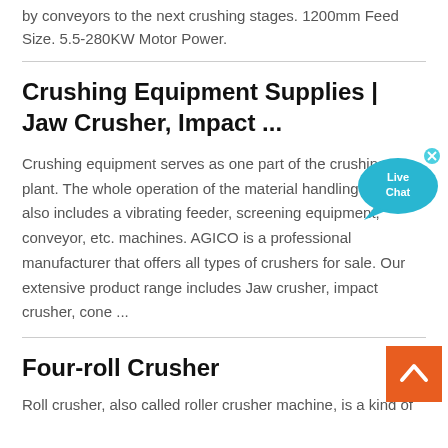by conveyors to the next crushing stages. 1200mm Feed Size. 5.5-280KW Motor Power.
Crushing Equipment Supplies | Jaw Crusher, Impact ...
Crushing equipment serves as one part of the crushing plant. The whole operation of the material handling process also includes a vibrating feeder, screening equipment, conveyor, etc. machines. AGICO is a professional manufacturer that offers all types of crushers for sale. Our extensive product range includes Jaw crusher, impact crusher, cone ...
Four-roll Crusher
Roll crusher, also called roller crusher machine, is a kind of
[Figure (other): Live Chat bubble widget with blue speech bubble and 'Live Chat' text with a close (x) button]
[Figure (other): Orange back-to-top button with upward chevron arrow]